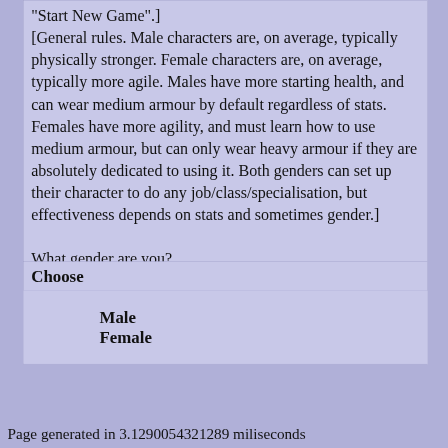"Start New Game".]
[General rules. Male characters are, on average, typically physically stronger. Female characters are, on average, typically more agile. Males have more starting health, and can wear medium armour by default regardless of stats. Females have more agility, and must learn how to use medium armour, but can only wear heavy armour if they are absolutely dedicated to using it. Both genders can set up their character to do any job/class/specialisation, but effectiveness depends on stats and sometimes gender.]

What gender are you?
Choose
Male
Female
Page generated in 3.1290054321289 miliseconds